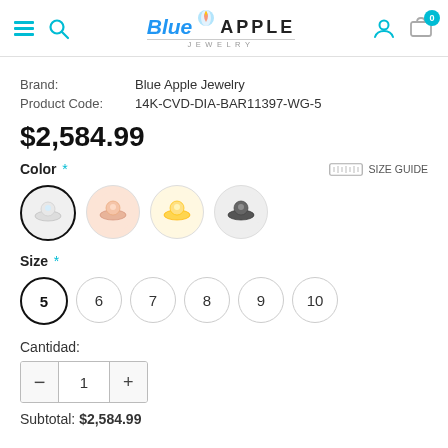[Figure (logo): Blue Apple Jewelry logo with hamburger menu, search icon, user icon, and cart icon showing 0 items]
Brand: Blue Apple Jewelry
Product Code: 14K-CVD-DIA-BAR11397-WG-5
$2,584.99
Color *
[Figure (illustration): Four ring color swatches: white gold (selected), rose gold, yellow gold, black]
Size *
5 (selected), 6, 7, 8, 9, 10
Cantidad:
Subtotal: $2,584.99